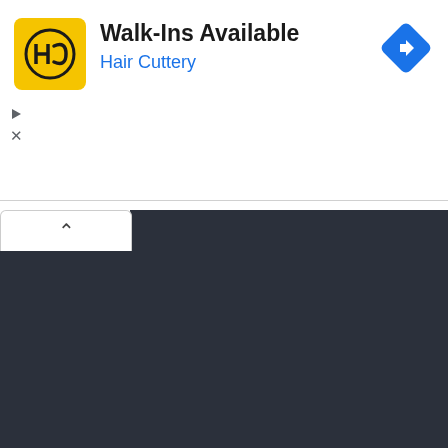[Figure (screenshot): Advertisement banner for Hair Cuttery showing 'Walk-Ins Available' with yellow HC logo, blue subtitle text, and a blue diamond-shaped turn arrow icon on the right. Below the ad are ad control icons (play and close). The lower portion shows a dark-themed code editor panel (dark #2b303b background) with a white tab/arrow button on the upper left. On the right side (partially visible) is a closing brace '}' and Step 4 text: 'Save the dynamic... I execute...']